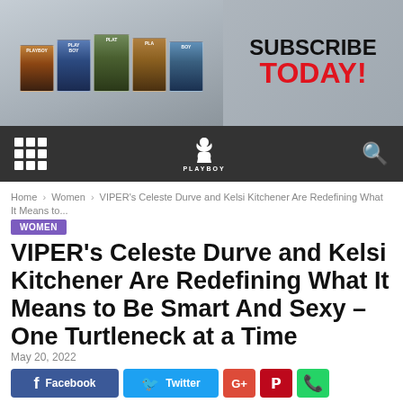[Figure (screenshot): Playboy magazine covers fanned out — multiple colorful issues displayed]
SUBSCRIBE TODAY!
[Figure (logo): Playboy bunny logo with PLAYBOY AUSTRALIA text in navigation bar]
Home › Women › VIPER's Celeste Durve and Kelsi Kitchener Are Redefining What It Means to...
WOMEN
VIPER's Celeste Durve and Kelsi Kitchener Are Redefining What It Means to Be Smart And Sexy – One Turtleneck at a Time
May 20, 2022
Facebook  Twitter  G+  Pinterest  WhatsApp